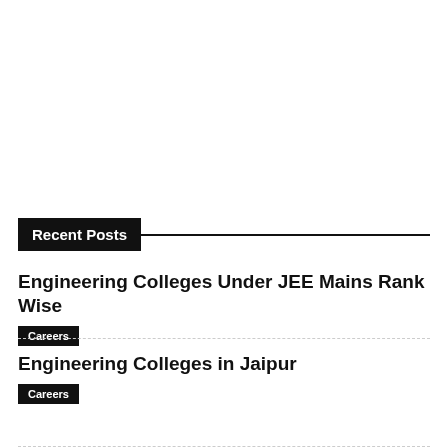Recent Posts
Engineering Colleges Under JEE Mains Rank Wise
Careers
Engineering Colleges in Jaipur
Careers